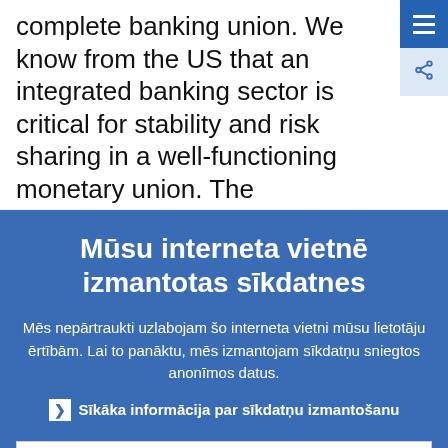complete banking union. We know from the US that an integrated banking sector is critical for stability and risk sharing in a well-functioning monetary union. The
Mūsu interneta vietnē izmantotas sīkdatnes
Mēs nepārtraukti uzlabojam šo interneta vietni mūsu lietotāju ērtībām. Lai to panāktu, mēs izmantojam sīkdatņu sniegtos anonīmos datus.
Sīkāka informācija par sīkdatņu izmantošanu
Saprotu un piekrītu sīkdatņu izmantošanai
Nepiekrītu sīkdatņu izmantošanai